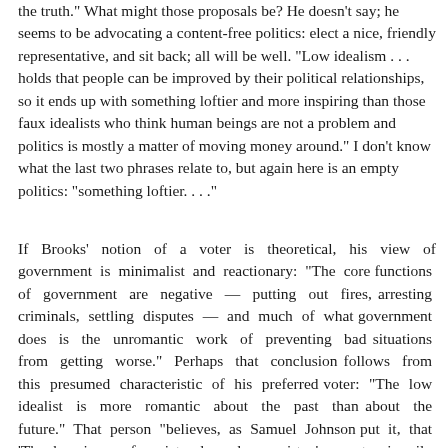the truth." What might those proposals be? He doesn't say; he seems to be advocating a content-free politics: elect a nice, friendly representative, and sit back; all will be well. "Low idealism . . . holds that people can be improved by their political relationships, so it ends up with something loftier and more inspiring than those faux idealists who think human beings are not a problem and politics is mostly a matter of moving money around." I don't know what the last two phrases relate to, but again here is an empty politics: "something loftier. . . ."
If Brooks' notion of a voter is theoretical, his view of government is minimalist and reactionary: "The core functions of government are negative — putting out fires, arresting criminals, settling disputes — and much of what government does is the unromantic work of preventing bad situations from getting worse." Perhaps that conclusion follows from this presumed characteristic of his preferred voter: "The low idealist is more romantic about the past than about the future." That person "believes, as Samuel Johnson put it, that 'The happiness of society depends on virtue' — not primarily material conditions." Government shouldn't make people's lives better on the low moral plane of physical